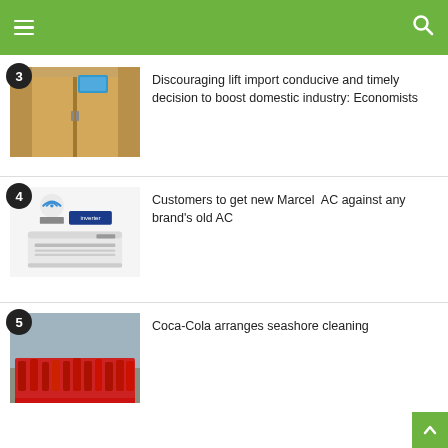Navigation header with hamburger menu and search icon
[Figure (photo): Photo of elevator doors with a display screen, numbered badge 3]
Discouraging lift import conducive and timely decision to boost domestic industry: Economists
[Figure (photo): Photo of Marcel AC air conditioner unit with smart inverter branding, numbered badge 4]
Customers to get new Marcel  AC against any brand's old AC
[Figure (photo): Photo of Coca-Cola seashore cleaning event with crowd in red shirts holding SEACHANGE banner, numbered badge 5]
Coca-Cola arranges seashore cleaning